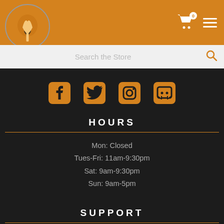[Figure (logo): Store logo circle with hand holding something on orange background]
Search the Store
[Figure (infographic): Social media icons: Facebook, Twitter, Instagram, Discord in orange]
HOURS
Mon: Closed
Tues-Fri: 11am-9:30pm
Sat: 9am-9:30pm
Sun: 9am-5pm
SUPPORT
Store Policies